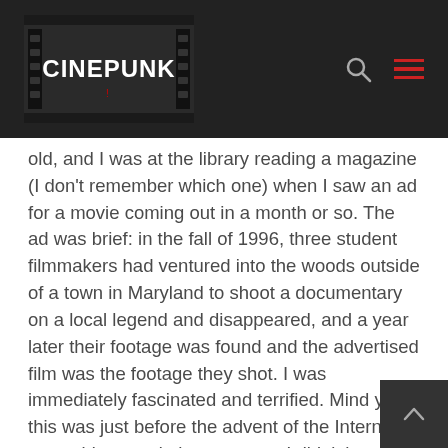CINEPUNK
old, and I was at the library reading a magazine (I don't remember which one) when I saw an ad for a movie coming out in a month or so. The ad was brief: in the fall of 1996, three student filmmakers had ventured into the woods outside of a town in Maryland to shoot a documentary on a local legend and disappeared, and a year later their footage was found and the advertised film was the footage they shot. I was immediately fascinated and terrified. Mind you, this was just before the advent of the Internet as a widespread phenomenon; I didn't have a device in my pocket that I could debunk this with instantly. To me, this was real. And I had to see it.